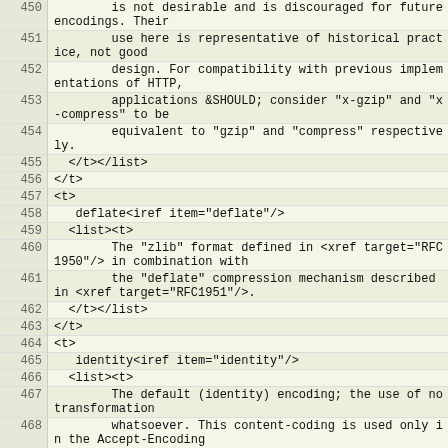| line | code |
| --- | --- |
| 450 |         is not desirable and is discouraged for future encodings. Their |
| 451 |         use here is representative of historical practice, not good |
| 452 |         design. For compatibility with previous implementations of HTTP, |
| 453 |         applications &SHOULD; consider "x-gzip" and "x-compress" to be |
| 454 |         equivalent to "gzip" and "compress" respectively. |
| 455 |   </t></list> |
| 456 | </t> |
| 457 | <t> |
| 458 |    deflate<iref item="deflate"/> |
| 459 |   <list><t> |
| 460 |         The "zlib" format defined in <xref target="RFC1950"/> in combination with |
| 461 |         the "deflate" compression mechanism described in <xref target="RFC1951"/>. |
| 462 |   </t></list> |
| 463 | </t> |
| 464 | <t> |
| 465 |    identity<iref item="identity"/> |
| 466 |   <list><t> |
| 467 |         The default (identity) encoding; the use of no transformation |
| 468 |         whatsoever. This content-coding is used only in the Accept-Encoding |
| 469 |         header, and &SHOULD-NOT;  be used in the Content-Encoding |
| 470 |         header. |
| 471 |   </t></list> |
| 472 | </t> |
| 473 | <t> |